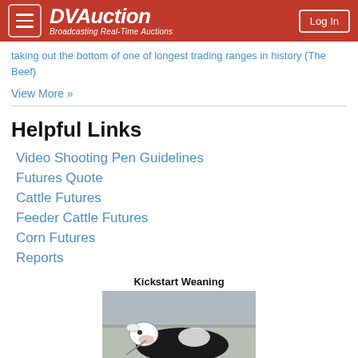DVAuction — Broadcasting Real-Time Auctions
taking out the bottom of one of longest trading ranges in history (The Beef)
View More »
Helpful Links
Video Shooting Pen Guidelines
Futures Quote
Cattle Futures
Feeder Cattle Futures
Corn Futures
Reports
[Figure (photo): Kickstart Weaning advertisement showing black and white cattle]